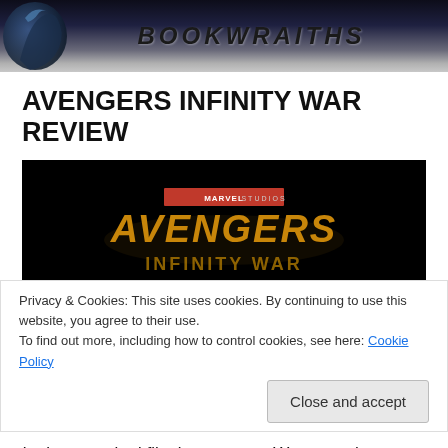BOOKWRAITHS
AVENGERS INFINITY WAR REVIEW
[Figure (photo): Avengers Infinity War movie logo on black background, showing MARVEL STUDIOS text above gold stylized AVENGERS lettering]
Privacy & Cookies: This site uses cookies. By continuing to use this website, you agree to their use.
To find out more, including how to control cookies, see here: Cookie Policy
Close and accept
the long awaited film in our area.  We got to the theater an